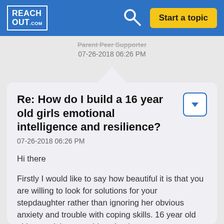REACH OUT .com
Parent Peer Supporter
07-26-2018 06:26 PM
Re: How do I build a 16 year old girls emotional intelligence and resilience?
07-26-2018 06:26 PM
Hi there
Firstly I would like to say how beautiful it is that you are willing to look for solutions for your stepdaughter rather than ignoring her obvious anxiety and trouble with coping skills. 16 year old girls are tricky as at this point there are many